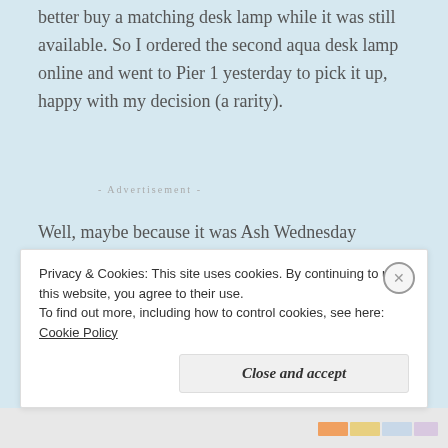better buy a matching desk lamp while it was still available. So I ordered the second aqua desk lamp online and went to Pier 1 yesterday to pick it up, happy with my decision (a rarity).
Advertisements
Well, maybe because it was Ash Wednesday (although I'm not Catholic or a practicing Protestant), or maybe because I was overwhelmingly fatigued (although I'd slept OK), or maybe because I have a lifetime of careless habits (no
Privacy & Cookies: This site uses cookies. By continuing to use this website, you agree to their use.
To find out more, including how to control cookies, see here: Cookie Policy
Close and accept